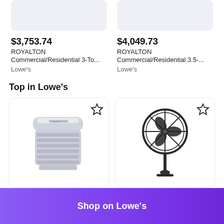[Figure (photo): Product image placeholder - light gray box for ROYALTON Commercial/Residential 3-Ton unit]
[Figure (photo): Product image placeholder - light gray box for ROYALTON Commercial/Residential 3.5-Ton unit]
$3,753.74
ROYALTON
Commercial/Residential 3-To...
Lowe's
$4,049.73
ROYALTON
Commercial/Residential 3.5-...
Lowe's
Top in Lowe's
[Figure (photo): Portable air cooler / evaporative cooler unit (MaxChill brand), gray and white, with star/favorite icon]
[Figure (photo): Black standing pedestal fan, with star/favorite icon]
Shop on Lowe's